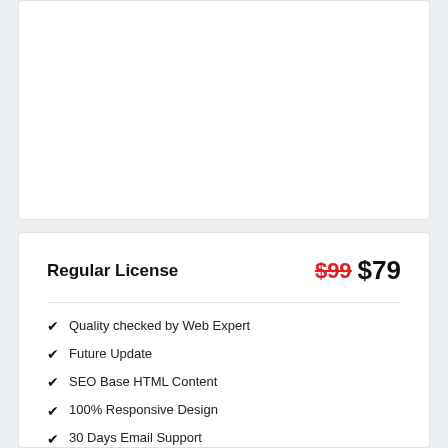Regular License
$99 $79
Quality checked by Web Expert
Future Update
SEO Base HTML Content
100% Responsive Design
30 Days Email Support